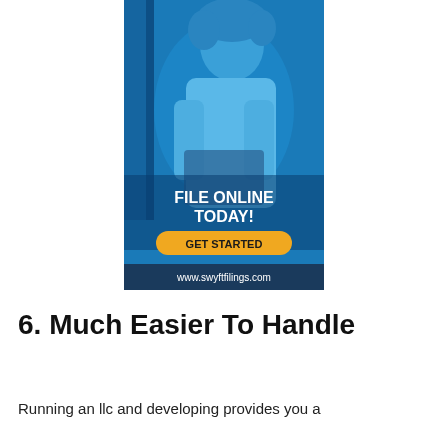[Figure (illustration): Advertisement banner with blue-tinted photo of a woman holding books, text 'FILE ONLINE TODAY!', a yellow 'GET STARTED' button, and URL 'www.swyftfilings.com' in a dark blue footer bar.]
6. Much Easier To Handle
Running an llc and developing provides you a